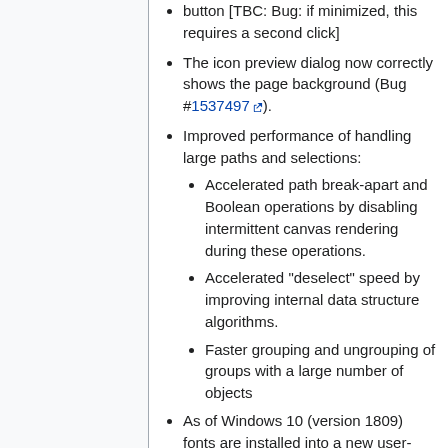button [TBC: Bug: if minimized, this requires a second click]
The icon preview dialog now correctly shows the page background (Bug #1537497).
Improved performance of handling large paths and selections:
Accelerated path break-apart and Boolean operations by disabling intermittent canvas rendering during these operations.
Accelerated "deselect" speed by improving internal data structure algorithms.
Faster grouping and ungrouping of groups with a large number of objects
As of Windows 10 (version 1809) fonts are installed into a new user-specific folder by default. Allow